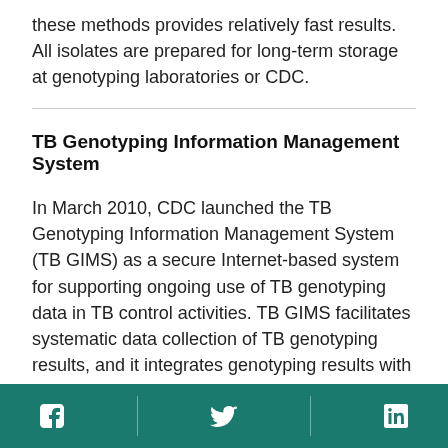these methods provides relatively fast results. All isolates are prepared for long-term storage at genotyping laboratories or CDC.
TB Genotyping Information Management System
In March 2010, CDC launched the TB Genotyping Information Management System (TB GIMS) as a secure Internet-based system for supporting ongoing use of TB genotyping data in TB control activities. TB GIMS facilitates systematic data collection of TB genotyping results, and it integrates genotyping results with epidemiologic data collected by NTSS to form a national and centralized database. Primary users of TB GIMS include TB laboratories that submit isolates for genotyping; national CDC-contracted
Facebook Twitter LinkedIn